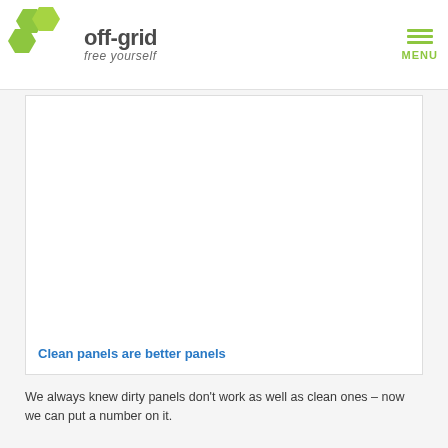off-grid free yourself
[Figure (photo): Photo placeholder showing clean solar panels — white/blank image area within a bordered card]
Clean panels are better panels
We always knew dirty panels don't work as well as clean ones – now we can put a number on it.